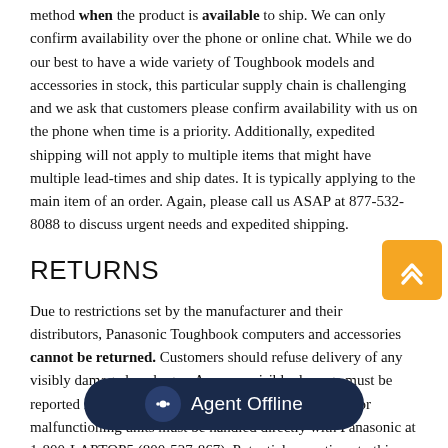method when the product is available to ship. We can only confirm availability over the phone or online chat. While we do our best to have a wide variety of Toughbook models and accessories in stock, this particular supply chain is challenging and we ask that customers please confirm availability with us on the phone when time is a priority. Additionally, expedited shipping will not apply to multiple items that might have multiple lead-times and ship dates. It is typically applying to the main item of an order. Again, please call us ASAP at 877-532-8088 to discuss urgent needs and expedited shipping.
RETURNS
Due to restrictions set by the manufacturer and their distributors, Panasonic Toughbook computers and accessories cannot be returned. Customers should refuse delivery of any visibly damaged packages. Any non-visible damage must be reported immediately to MooringTech.com. Defective or malfunctioning units must be handled directly with Panasonic at 1-800-LAPTOP5 (800-527-867). Potential exceptions to this return policy can only be arranged prior to purchasing product and only with the explicit consent of a sales representative who is firmly aware of all extenuating circumstances. Returns will not be accepted by MooringTech.com without a Return Merch... Returned items lacking an RMA will be r... customer at the customer's expense. Shipping and handling charges are